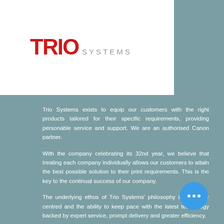[Figure (logo): Trio Systems logo — 'TRIO' in bold red with 'SYSTEMS' in grey uppercase letterспacing, on a white card background]
Trio Systems exists to equip our customers with the right products tailored for their specific requirements, providing personable service and support. We are an authorised Canon partner.
With the company celebrating its 32nd year, we believe that treating each company individually allows our customers to attain the best possible solution to their print requirements. This is the key to the continual success of our company.
The underlying ethos of Trio Systems' philosophy is customer centred and the ability to keep pace with the latest technology backed by expert service, prompt delivery and greater efficiency.
As an authorised Canon partner we can supply